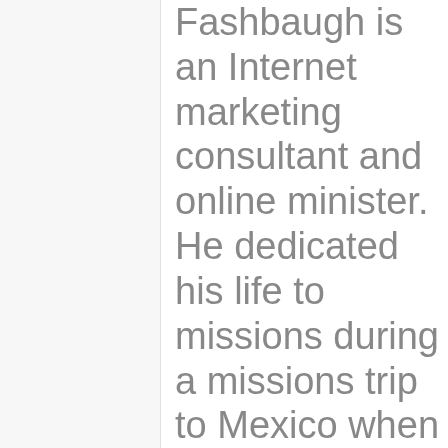Fashbaugh is an Internet marketing consultant and online minister. He dedicated his life to missions during a missions trip to Mexico when he